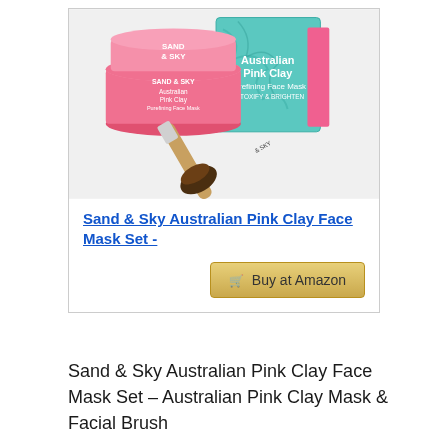[Figure (photo): Product photo of Sand & Sky Australian Pink Clay Purefining Face Mask jar (pink) and box (turquoise/teal with pink accents), with a flat foundation brush in the foreground]
Sand & Sky Australian Pink Clay Face Mask Set -
🛒 Buy at Amazon
Sand & Sky Australian Pink Clay Face Mask Set – Australian Pink Clay Mask & Facial Brush